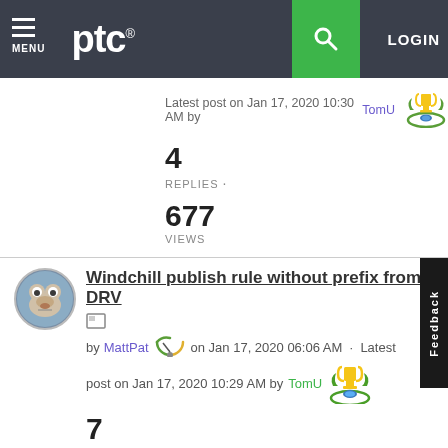ptc® | MENU | LOGIN
Latest post on Jan 17, 2020 10:30 AM by TomU
4
REPLIES ·
677
VIEWS
Windchill publish rule without prefix from DRV
by MattPat on Jan 17, 2020 06:06 AM · Latest post on Jan 17, 2020 10:29 AM by TomU
7
REPLIES ·
1121
VIEWS